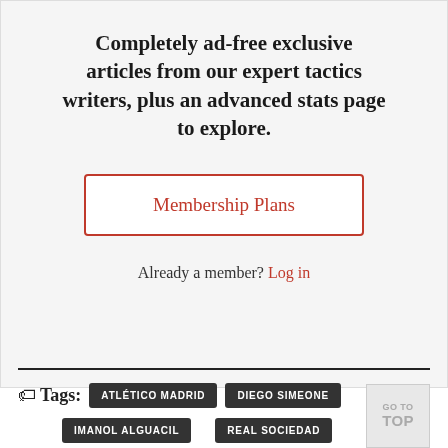Completely ad-free exclusive articles from our expert tactics writers, plus an advanced stats page to explore.
Membership Plans
Already a member? Log in
Tags: ATLÉTICO MADRID | DIEGO SIMEONE | IMANOL ALGUACIL | REAL SOCIEDAD